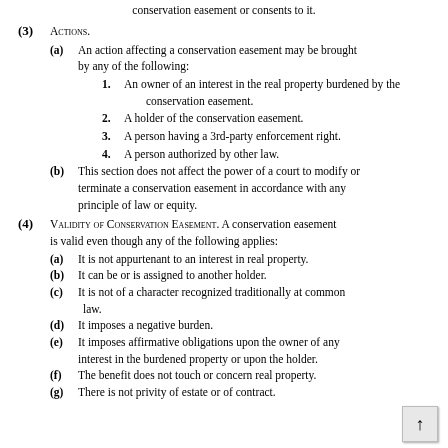conservation easement or consents to it.
(3) Actions. (a) An action affecting a conservation easement may be brought by any of the following: 1. An owner of an interest in the real property burdened by the conservation easement. 2. A holder of the conservation easement. 3. A person having a 3rd-party enforcement right. 4. A person authorized by other law. (b) This section does not affect the power of a court to modify or terminate a conservation easement in accordance with any principle of law or equity.
(4) Validity of Conservation Easement. A conservation easement is valid even though any of the following applies: (a) It is not appurtenant to an interest in real property. (b) It can be or is assigned to another holder. (c) It is not of a character recognized traditionally at common law. (d) It imposes a negative burden. (e) It imposes affirmative obligations upon the owner of any interest in the burdened property or upon the holder. (f) The benefit does not touch or concern real property. (g) There is not privity of estate or of contract.